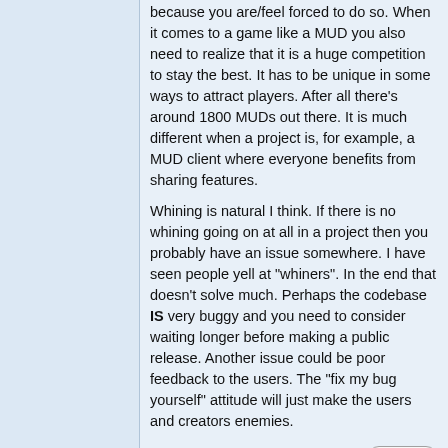because you are/feel forced to do so. When it comes to a game like a MUD you also need to realize that it is a huge competition to stay the best. It has to be unique in some ways to attract players. After all there's around 1800 MUDs out there. It is much different when a project is, for example, a MUD client where everyone benefits from sharing features.

Whining is natural I think. If there is no whining going on at all in a project then you probably have an issue somewhere. I have seen people yell at "whiners". In the end that doesn't solve much. Perhaps the codebase IS very buggy and you need to consider waiting longer before making a public release. Another issue could be poor feedback to the users. The "fix my bug yourself" attitude will just make the users and creators enemies.
Darker
GURU
Posted: Mon Feb 06, 2006 3:21 pm
Bla bla, firefox, bla bla, extensions, bla bla,